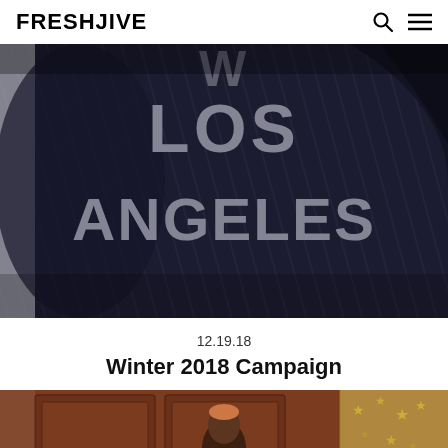FRESHJIVE
[Figure (photo): Close-up photo of a person wearing a dark navy/black pinstripe fabric garment with large grey collegiate-style lettering reading 'LOS ANGELES' on the chest/back area]
12.19.18
Winter 2018 Campaign
[Figure (photo): Photo of a person with short hair sitting in front of ornate wooden paneled wall with a gold star-patterned curtain/chandelier visible on the right side]